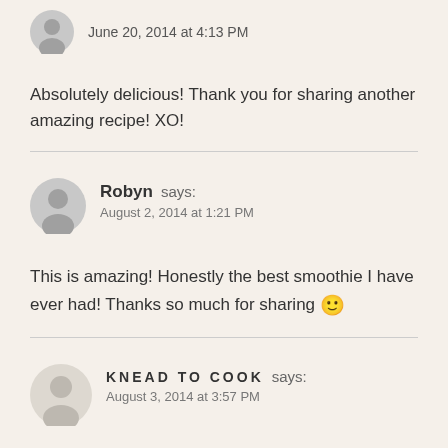June 20, 2014 at 4:13 PM
Absolutely delicious! Thank you for sharing another amazing recipe! XO!
Robyn says: August 2, 2014 at 1:21 PM
This is amazing! Honestly the best smoothie I have ever had! Thanks so much for sharing 🙂
KNEAD TO COOK says: August 3, 2014 at 3:57 PM